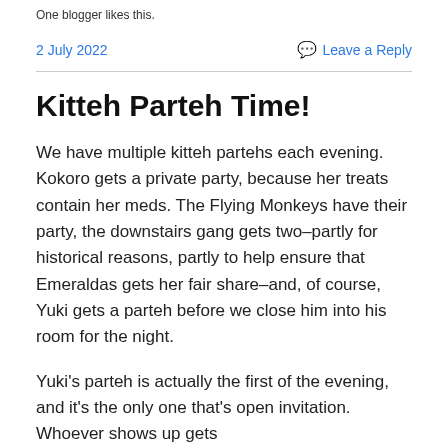One blogger likes this.
2 July 2022
Leave a Reply
Kitteh Parteh Time!
We have multiple kitteh partehs each evening. Kokoro gets a private party, because her treats contain her meds. The Flying Monkeys have their party, the downstairs gang gets two–partly for historical reasons, partly to help ensure that Emeraldas gets her fair share–and, of course, Yuki gets a parteh before we close him into his room for the night.
Yuki's parteh is actually the first of the evening, and it's the only one that's open invitation. Whoever shows up gets